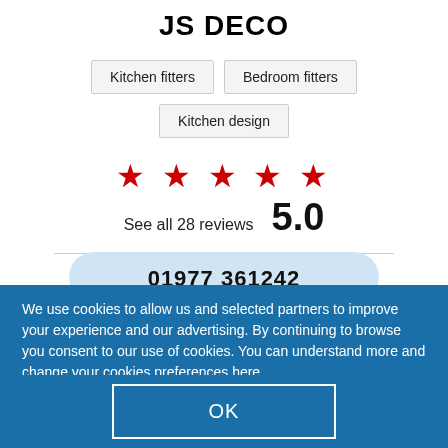JS DECO
Kitchen fitters
Bedroom fitters
Kitchen design
★★★★★ See all 28 reviews 5.0
01977 361242
We use cookies to allow us and selected partners to improve your experience and our advertising. By continuing to browse you consent to our use of cookies. You can understand more and change your cookies preferences here.
OK